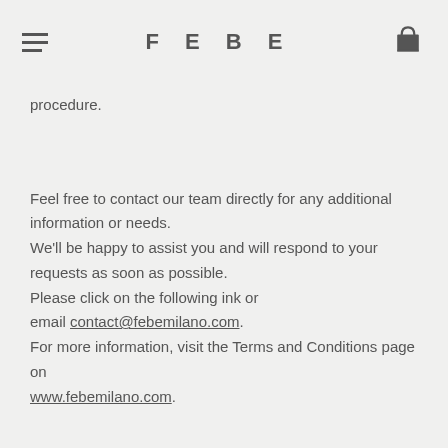FEBE
procedure.
Feel free to contact our team directly for any additional information or needs.
We'll be happy to assist you and will respond to your requests as soon as possible.
Please click on the following ink or
email contact@febemilano.com.
For more information, visit the Terms and Conditions page on www.febemilano.com.